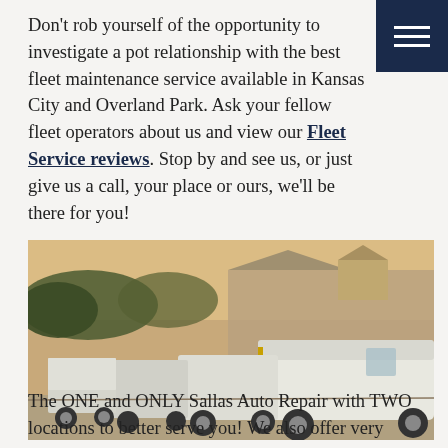Don't rob yourself of the opportunity to investigate a potential relationship with the best fleet maintenance service available in Kansas City and Overland Park. Ask your fellow fleet operators about us and view our Fleet Service reviews. Stop by and see us, or just give us a call, your place or ours, we'll be there for you!
[Figure (photo): A row of white commercial vans and box trucks parked in a parking lot in front of a building with a warm sunset sky and trees in the background.]
The ONE and ONLY Sallas Auto Repair with TWO locations to better serve you! We also offer very special rates and service